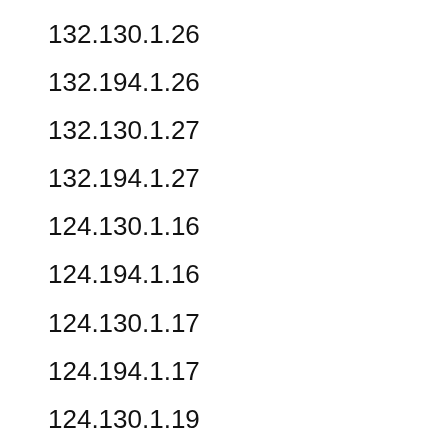132.130.1.26
132.194.1.26
132.130.1.27
132.194.1.27
124.130.1.16
124.194.1.16
124.130.1.17
124.194.1.17
124.130.1.19
124.194.1.19
124.130.1.24
124.194.1.24
124.130.1.25
124.194.1.25
124.130.1.26